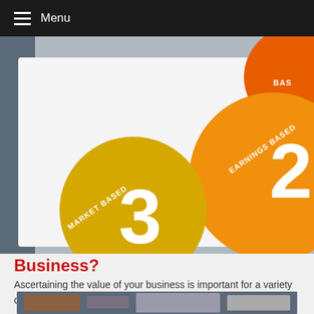Menu
[Figure (photo): Close-up of a printed document showing numbered colored circles: an orange circle labeled '2 EARNINGS BASED' and a yellow circle labeled '3 MARKET BASED', with a partial orange circle in the top right corner labeled 'BAS...']
Business?
Ascertaining the value of your business is important for a variety of reasons.
[Figure (photo): Blurred background photo, partially visible at the bottom of the page]